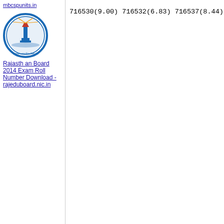mbcspunits.in
[Figure (logo): Rajasthan Board circular emblem/seal with blue border and lighthouse illustration]
Rajasthan Board 2014 Exam Roll Number Download - rajeduboard.nic.in
716530(9.00) 716532(6.83)
716537(8.44) 716538(8.72)
716545(8.22) 716546(8.44)
716552(8.17) 716553(7.61)
716564(9.00) 716565(7.61)
716573(7.61) 716575(5.28)
716583(6.89) 716584(7.39)
716590(6.33) 716591(7.33)
716604(7.61) 716605(8.17)
716612(7.39) 716614(7.89)
716622(6.39) 716623(8.17)
716632(7.89) 716633(7.61)
716644(6.67) 716646(7.67)
716657(7.67) 716659(8.39)
716665(7.67) 716666(6.39)
716672(8.22) 716674(8.17)
716685(7.17) 716686(7.17)
716695(8.72) 716697(8.94)
716702(8.72) 716703(8.44)
716709(9.00) 716710(9.22)
716716(7.11) 716717(8.72)
*** Withheld Roll Number f
716457 716465 716466 71647